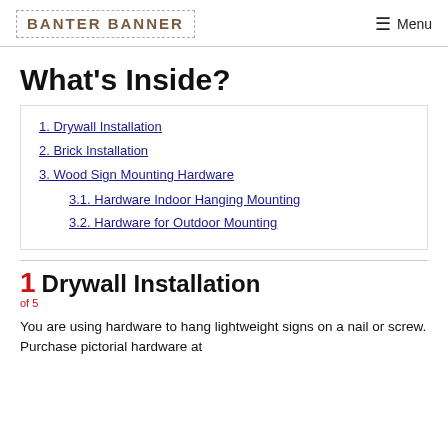BANTER BANNER   Menu
What's Inside?
1. Drywall Installation
2. Brick Installation
3. Wood Sign Mounting Hardware
3.1. Hardware Indoor Hanging Mounting
3.2. Hardware for Outdoor Mounting
1  Drywall Installation
of 5
You are using hardware to hang lightweight signs on a nail or screw. Purchase pictorial hardware at